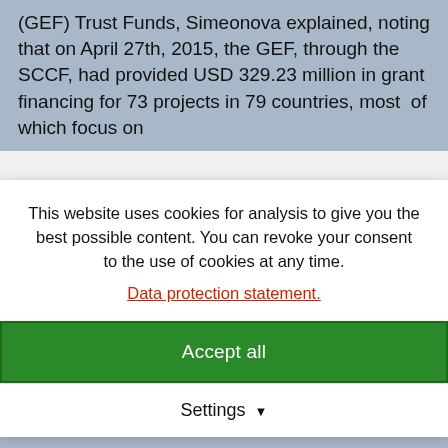(GEF) Trust Funds, Simeonova explained, noting that on April 27th, 2015, the GEF, through the SCCF, had provided USD 329.23 million in grant financing for 73 projects in 79 countries, most of which focus on
This website uses cookies for analysis to give you the best possible content. You can revoke your consent to the use of cookies at any time.
Data protection statement.
Accept all
Settings
projects, SCCF investments amounting to USD 95.27 million were bringing some 2.7 million hectares of land in 25 countries under better management practices to reduce vulnerability to climate change.